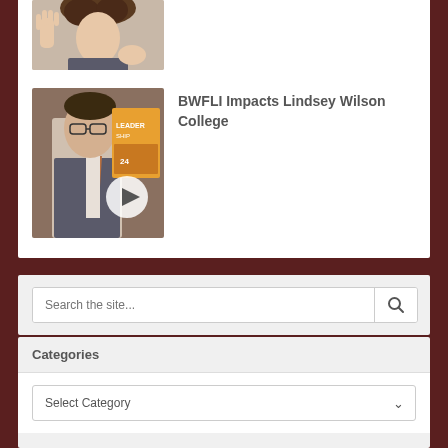[Figure (photo): Partial photo of a person with curly hair and raised hand, top cropped]
[Figure (photo): Man in suit with glasses standing in front of a Leadership poster, with a video play button overlay]
BWFLI Impacts Lindsey Wilson College
Search the site...
Categories
Select Category